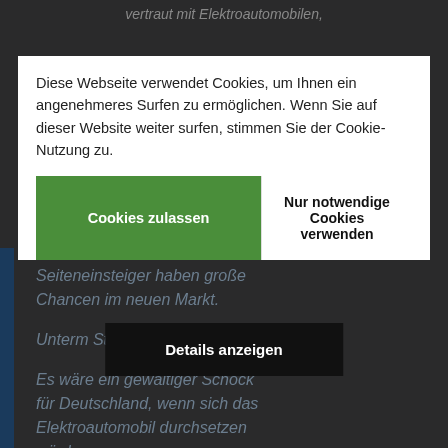vertraut mit Elektroautomobilen,
Diese Webseite verwendet Cookies, um Ihnen ein angenehmeres Surfen zu ermöglichen. Wenn Sie auf dieser Website weiter surfen, stimmen Sie der Cookie-Nutzung zu.
durchschnittlich werden und erheblich restrukturieren müssen. Wenn sie nicht über
Cookies zulassen
Nur notwendige Cookies verwenden
Premium Status verfügen. Auch neu hinzukommende
Details anzeigen
Seiteneinsteiger haben große Chancen im neuen Markt.
Unterm Strich:
Es wäre ein gewaltiger Schock für Deutschland, wenn sich das Elektroautomobil durchsetzen würde.
Aber keine Aufregung, er kommt sowieso.
Das Automobil hat auch als